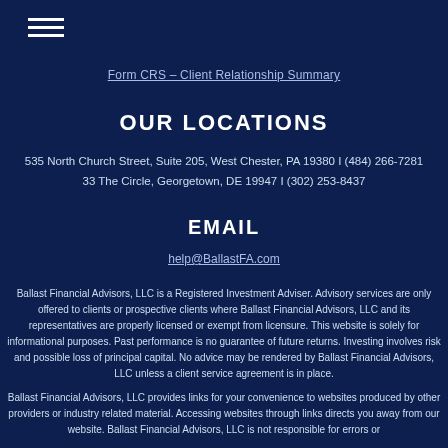[Figure (other): Hamburger menu icon with three horizontal white lines]
Form CRS – Client Relationship Summary
OUR LOCATIONS
535 North Church Street, Suite 205, West Chester, PA 19380 I (484) 266-7281
33 The Circle, Georgetown, DE 19947 I (302) 253-8437
EMAIL
help@BallastFA.com
Ballast Financial Advisors, LLC is a Registered Investment Adviser. Advisory services are only offered to clients or prospective clients where Ballast Financial Advisors, LLC and its representatives are properly licensed or exempt from licensure. This website is solely for informational purposes. Past performance is no guarantee of future returns. Investing involves risk and possible loss of principal capital. No advice may be rendered by Ballast Financial Advisors, LLC unless a client service agreement is in place.
Ballast Financial Advisors, LLC provides links for your convenience to websites produced by other providers or industry related material. Accessing websites through links directs you away from our website. Ballast Financial Advisors, LLC is not responsible for errors or